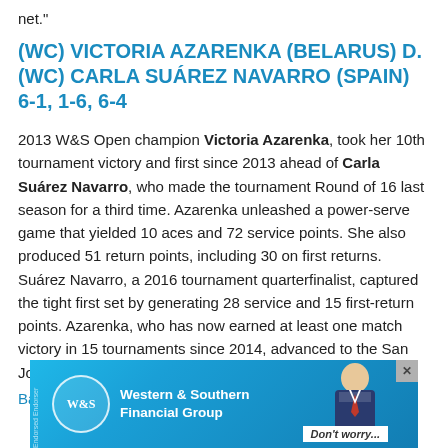net."
(WC) VICTORIA AZARENKA (BELARUS) D. (WC) CARLA SUÁREZ NAVARRO (SPAIN) 6-1, 1-6, 6-4
2013 W&S Open champion Victoria Azarenka, took her 10th tournament victory and first since 2013 ahead of Carla Suárez Navarro, who made the tournament Round of 16 last season for a third time. Azarenka unleashed a power-serve game that yielded 10 aces and 72 service points. She also produced 51 return points, including 30 on first returns. Suárez Navarro, a 2016 tournament quarterfinalist, captured the tight first set by generating 28 service and 15 first-return points. Azarenka, who has now earned at least one match victory in 15 tournaments since 2014, advanced to the San Jose quarterfinals in July and Miami semifinals in March.
Back
[Figure (other): Western & Southern Financial Group advertisement banner with blue background, company logo, and person in suit]